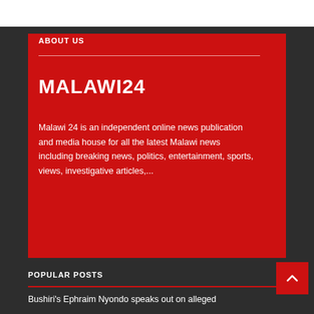ABOUT US
MALAWI24
Malawi 24 is an independent online news publication and media house for all the latest Malawi news including breaking news, politics, entertainment, sports, views, investigative articles,...
POPULAR POSTS
Bushiri's Ephraim Nyondo speaks out on alleged